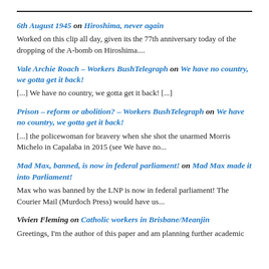6th August 1945 on Hiroshima, never again
Worked on this clip all day, given its the 77th anniversary today of the dropping of the A-bomb on Hiroshima....
Vale Archie Roach – Workers BushTelegraph on We have no country, we gotta get it back!
[...] We have no country, we gotta get it back! [...]
Prison – reform or abolition? – Workers BushTelegraph on We have no country, we gotta get it back!
[...] the policewoman for bravery when she shot the unarmed Morris Michelo in Capalaba in 2015 (see We have no...
Mad Max, banned, is now in federal parliament! on Mad Max made it into Parliament!
Max who was banned by the LNP is now in federal parliament! The Courier Mail (Murdoch Press) would have us...
Vivien Fleming on Catholic workers in Brisbane/Meanjin
Greetings, I'm the author of this paper and am planning further academic